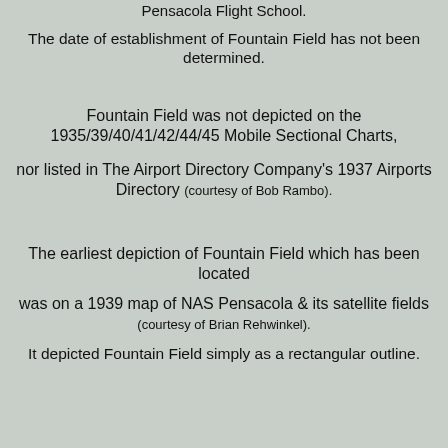Pensacola Flight School.
The date of establishment of Fountain Field has not been determined.
Fountain Field was not depicted on the 1935/39/40/41/42/44/45 Mobile Sectional Charts,
nor listed in The Airport Directory Company's 1937 Airports Directory (courtesy of Bob Rambo).
The earliest depiction of Fountain Field which has been located
was on a 1939 map of NAS Pensacola & its satellite fields (courtesy of Brian Rehwinkel).
It depicted Fountain Field simply as a rectangular outline.